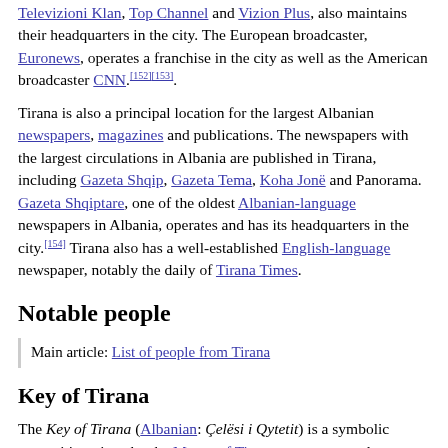Televizioni Klan, Top Channel and Vizion Plus, also maintains their headquarters in the city. The European broadcaster, Euronews, operates a franchise in the city as well as the American broadcaster CNN.[152][153].
Tirana is also a principal location for the largest Albanian newspapers, magazines and publications. The newspapers with the largest circulations in Albania are published in Tirana, including Gazeta Shqip, Gazeta Tema, Koha Jonë and Panorama. Gazeta Shqiptare, one of the oldest Albanian-language newspapers in Albania, operates and has its headquarters in the city.[154] Tirana also has a well-established English-language newspaper, notably the daily of Tirana Times.
Notable people
Main article: List of people from Tirana
Key of Tirana
The Key of Tirana (Albanian: Çelësi i Qytetit) is a symbolic recognition given by the Mayor of Tirana to an esteemed personality. It was given to: